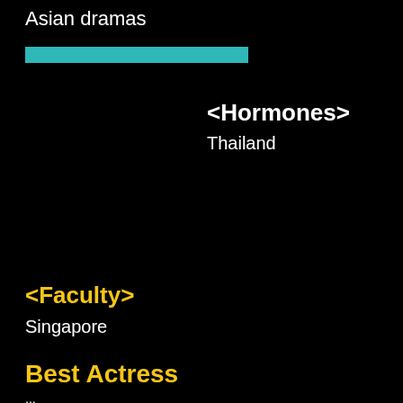Asian dramas
[Figure (other): Teal/cyan horizontal bar, partial width progress bar style]
<Hormones>
Thailand
<Faculty>
Singapore
Best Actress
...